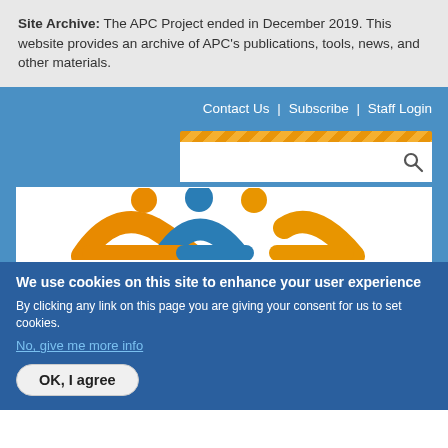Site Archive: The APC Project ended in December 2019. This website provides an archive of APC's publications, tools, news, and other materials.
Contact Us | Subscribe | Staff Login
[Figure (other): Search bar with orange top bar and magnifying glass icon]
[Figure (logo): APC logo showing three stylized human figures in orange and blue with arms linked]
We use cookies on this site to enhance your user experience
By clicking any link on this page you are giving your consent for us to set cookies.
No, give me more info
OK, I agree